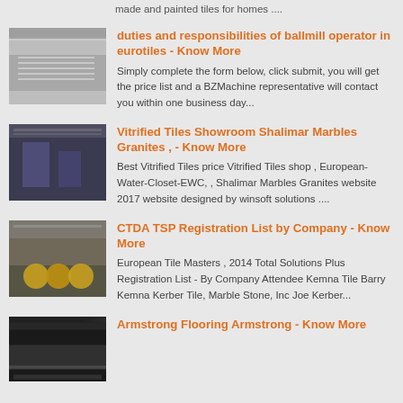made and painted tiles for homes ....
duties and responsibilities of ballmill operator in eurotiles - Know More
Simply complete the form below, click submit, you will get the price list and a BZMachine representative will contact you within one business day...
Vitrified Tiles Showroom Shalimar Marbles Granites , - Know More
Best Vitrified Tiles price Vitrified Tiles shop , European-Water-Closet-EWC, , Shalimar Marbles Granites website 2017 website designed by winsoft solutions ....
CTDA TSP Registration List by Company - Know More
European Tile Masters , 2014 Total Solutions Plus Registration List - By Company Attendee Kemna Tile Barry Kemna Kerber Tile, Marble Stone, Inc Joe Kerber...
Armstrong Flooring Armstrong - Know More